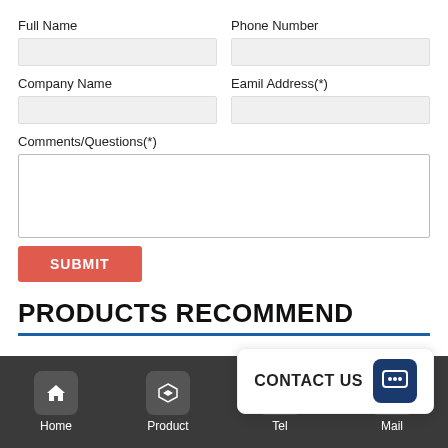Full Name
Phone Number
Company Name
Eamil Address(*)
Comments/Questions(*)
[Figure (screenshot): Web contact form with fields for Full Name, Phone Number, Company Name, Email Address, Comments/Questions, and a Submit button]
PRODUCTS RECOMMEND
CONTACT US
Home
Product
Tel
Mail